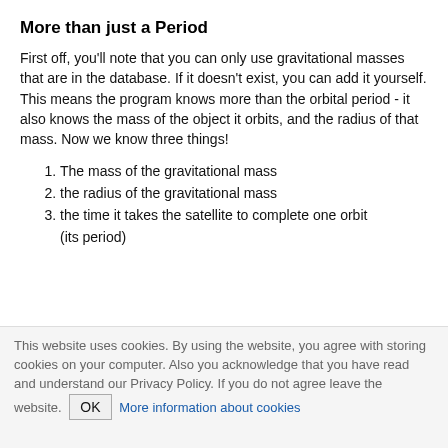More than just a Period
First off, you'll note that you can only use gravitational masses that are in the database. If it doesn't exist, you can add it yourself. This means the program knows more than the orbital period - it also knows the mass of the object it orbits, and the radius of that mass. Now we know three things!
The mass of the gravitational mass
the radius of the gravitational mass
the time it takes the satellite to complete one orbit (its period)
This website uses cookies. By using the website, you agree with storing cookies on your computer. Also you acknowledge that you have read and understand our Privacy Policy. If you do not agree leave the website. OK More information about cookies